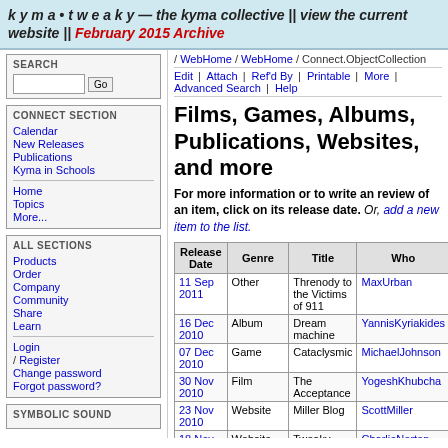kyma • tweaky — the kyma collective || view the current website || February 2015 Archive
/ WebHome / WebHome / Connect.ObjectCollection
Edit | Attach | Ref'd By | Printable | More | Advanced Search | Help
Films, Games, Albums, Publications, Websites, and more
For more information or to write an review of an item, click on its release date. Or, add a new item to the list.
| Release Date | Genre | Title | Who |
| --- | --- | --- | --- |
| 11 Sep 2011 | Other | Threnody to the Victims of 911 | MaxUrban |
| 16 Dec 2010 | Album | Dream machine | YannisKyriakides |
| 07 Dec 2010 | Game | Cataclysmic | MichaelJohnson |
| 30 Nov 2010 | Film | The Acceptance | YogeshKhubcha |
| 23 Nov 2010 | Website | Miller Blog | ScottMiller |
| 18 Nov 2010 | Website | Tweaky Sound Sharing | CharlieNorton |
| 14 Nov 2010 | Website | Modal Matteo | MatteoMilani |
| 13 Nov | Installation | On Varosha | YannisKyriakides |
SEARCH
CONNECT SECTION
Calendar
New Releases
Publications
Kyma in Schools
Home
Topics
More...
ALL SECTIONS
Products
Order
Company
Community
Share
Learn
Login / Register
Change password
Forgot password?
SYMBOLIC SOUND